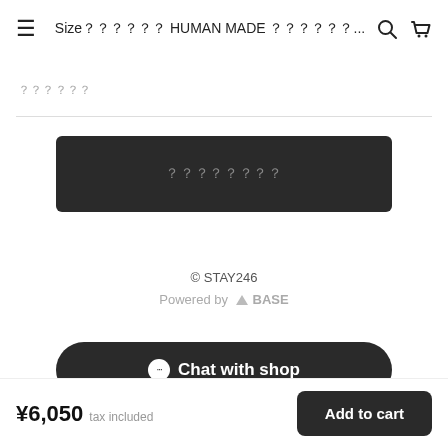Size？？？？？？ HUMAN MADE ？？？？？？...
？？？？？？
？？？？？？？？
© STAY246
Powered by △BASE
Chat with shop
¥6,050 tax included
Add to cart